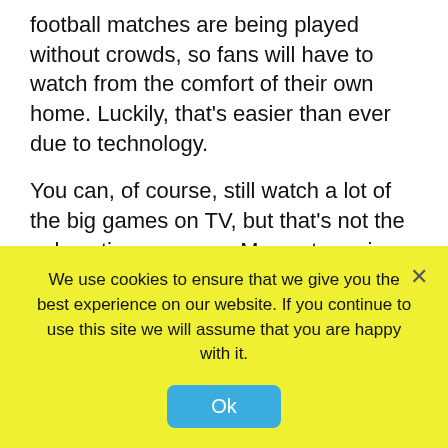football matches are being played without crowds, so fans will have to watch from the comfort of their own home. Luckily, that's easier than ever due to technology.

You can, of course, still watch a lot of the big games on TV, but that's not the only option anymore. Many streaming services, like Amazon Prime, have the rights to certain matches so you can watch on your phone or laptop, or on a smart TV. Even the TV providers, like Sky and BT, have their own online streaming apps so even if you can't get to a TV, you won't miss any of the action. As long as you have good broadband speeds,of which you can find the best options at Broadband Choices, the quality will be just as good as if you were watching the games on TV, so you have a lot more flexibility.
We use cookies to ensure that we give you the best experience on our website. If you continue to use this site we will assume that you are happy with it.